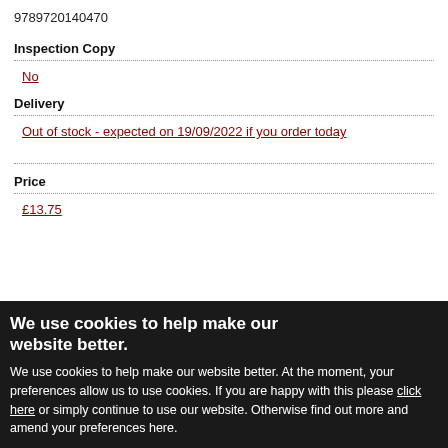9789720140470
Inspection Copy
No
Delivery
Out of stock - expected on 19/09/2022 if you order today
Price
£13.75
We use cookies to help make our website better.
We use cookies to help make our website better. At the moment, your preferences allow us to use cookies. If you are happy with this please click here or simply continue to use our website. Otherwise find out more and amend your preferences here.